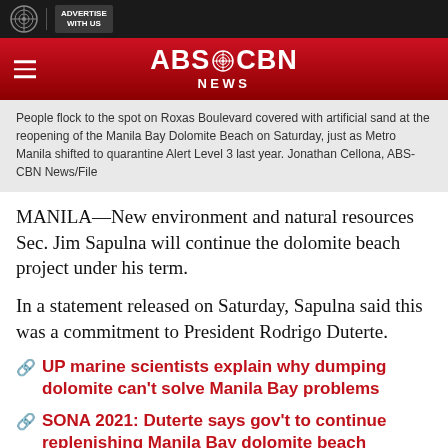ABS-CBN NEWS
People flock to the spot on Roxas Boulevard covered with artificial sand at the reopening of the Manila Bay Dolomite Beach on Saturday, just as Metro Manila shifted to quarantine Alert Level 3 last year. Jonathan Cellona, ABS-CBN News/File
MANILA—New environment and natural resources Sec. Jim Sapulna will continue the dolomite beach project under his term.
In a statement released on Saturday, Sapulna said this was a commitment to President Rodrigo Duterte.
UP marine scientists explain why dumping dolomite can't solve Manila Bay problems
SONA 2021: Duterte says gov't to continue replenishing Manila Bay dolomite beach